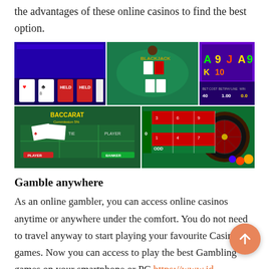the advantages of these online casinos to find the best option.
[Figure (photo): A collage of four online casino game screenshots: video poker (top-left), blackjack/card table (top-center), slot machine (top-right), baccarat table (bottom-left), and roulette table (bottom-right).]
Gamble anywhere
As an online gambler, you can access online casinos anytime or anywhere under the comfort. You do not need to travel anyway to start playing your favourite Casino games. Now you can access to play the best Gambling games on your smartphone or PC https://www.jd1d1d.com/th/th-th/. However, you do not need to